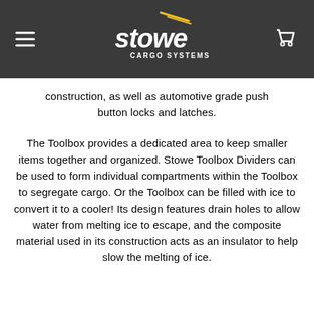[Figure (logo): Stowe Cargo Systems logo with yellow lightning bolt marks above the word 'stowe' in white italic text and 'CARGO SYSTEMS' subtitle, on dark grey background. Hamburger menu icon on left, shopping cart icon on right.]
construction, as well as automotive grade push button locks and latches.
The Toolbox provides a dedicated area to keep smaller items together and organized. Stowe Toolbox Dividers can be used to form individual compartments within the Toolbox to segregate cargo. Or the Toolbox can be filled with ice to convert it to a cooler! Its design features drain holes to allow water from melting ice to escape, and the composite material used in its construction acts as an insulator to help slow the melting of ice.